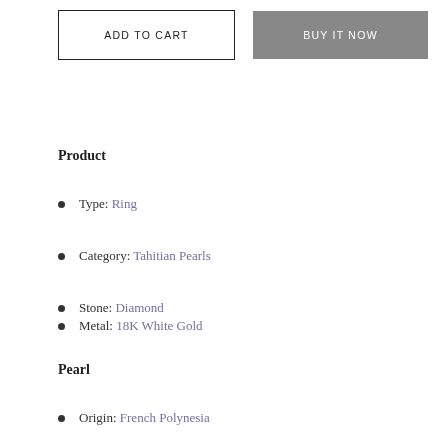[Figure (other): Two buttons: 'ADD TO CART' (outlined) and 'BUY IT NOW' (gray filled)]
Product
Type: Ring
Category: Tahitian Pearls
Stone: Diamond
Metal: 18K White Gold
Pearl
Origin: French Polynesia